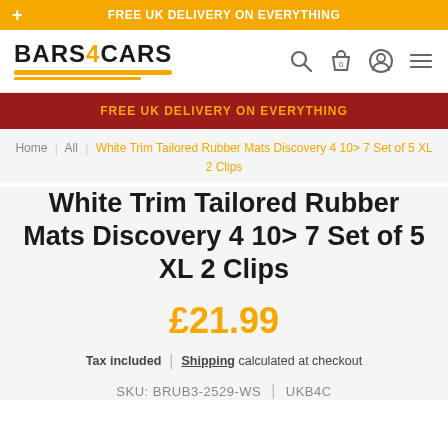FREE UK DELIVERY ON EVERYTHING
[Figure (logo): Bars4Cars logo with yellow underline bar]
FREE UK DELIVERY ON EVERYTHING
Home | All | White Trim Tailored Rubber Mats Discovery 4 10> 7 Set of 5 XL 2 Clips
White Trim Tailored Rubber Mats Discovery 4 10> 7 Set of 5 XL 2 Clips
£21.99
Tax included | Shipping calculated at checkout
SKU: BRUB3-2529-WS | UKB4C